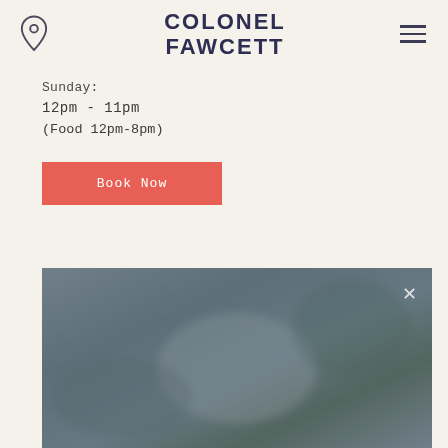COLONEL FAWCETT
Sunday:
12pm - 11pm
(Food 12pm-8pm)
Book Now
[Figure (photo): Blurred interior photograph of Colonel Fawcett pub/restaurant, showing a dimly lit room with soft focus]